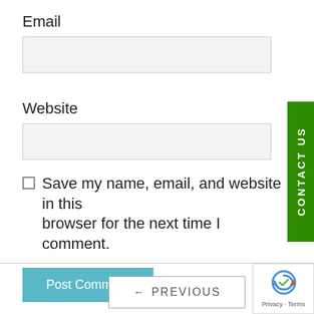Email
Website
Save my name, email, and website in this browser for the next time I comment.
Post Comment
← PREVIOUS
CONTACT US
[Figure (logo): reCAPTCHA logo with Privacy and Terms links]